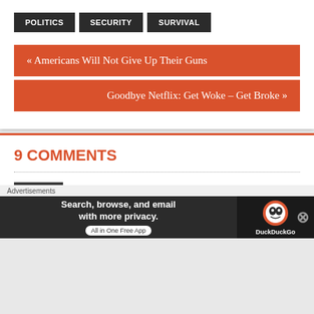POLITICS
SECURITY
SURVIVAL
« Americans Will Not Give Up Their Guns
Goodbye Netflix: Get Woke – Get Broke »
9 COMMENTS
The Armed Christian says:
June 21, 2018 at 8:29 pm
[Figure (photo): Avatar image of The Armed Christian commenter - dark image with reddish tones]
Advertisements
[Figure (screenshot): DuckDuckGo advertisement banner - Search, browse, and email with more privacy. All in One Free App]